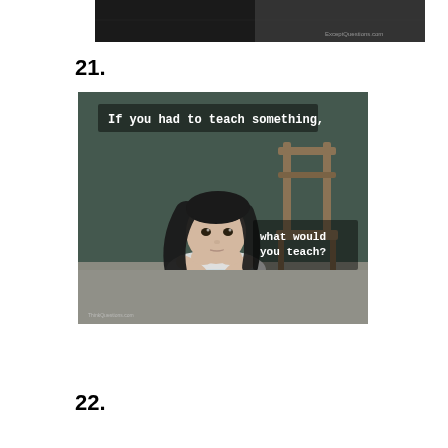[Figure (photo): Partial black and white photo at top of page, cropped, with watermark 'ExceptQuestions.com']
21.
[Figure (photo): Photo of a young girl with dark hair lying on the floor with her chin resting on her hands, looking contemplative. A wooden chair is visible in the background. Text overlay reads: 'If you had to teach something, what would you teach?' Watermark at bottom left.]
22.